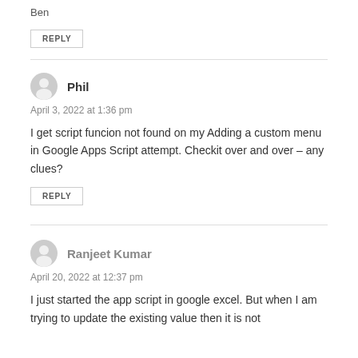Ben
REPLY
Phil
April 3, 2022 at 1:36 pm
I get script funcion not found on my Adding a custom menu in Google Apps Script attempt. Checkit over and over – any clues?
REPLY
Ranjeet Kumar
April 20, 2022 at 12:37 pm
I just started the app script in google excel. But when I am trying to update the existing value then it is not